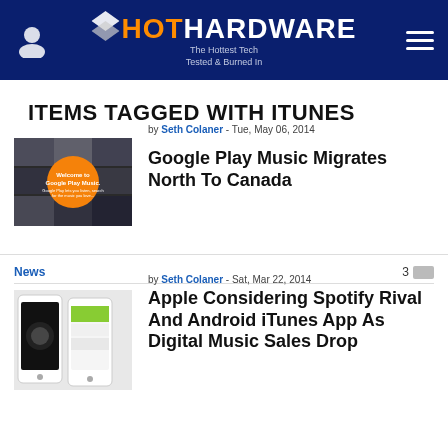HotHardware - The Hottest Tech Tested & Burned In
ITEMS TAGGED WITH ITUNES
by Seth Colaner - Tue, May 06, 2014
[Figure (photo): Google Play Music welcome screen with orange circle on photo collage background]
Google Play Music Migrates North To Canada
News  3
by Seth Colaner - Sat, Mar 22, 2014
[Figure (photo): Two white smartphones showing music app interfaces]
Apple Considering Spotify Rival And Android iTunes App As Digital Music Sales Drop